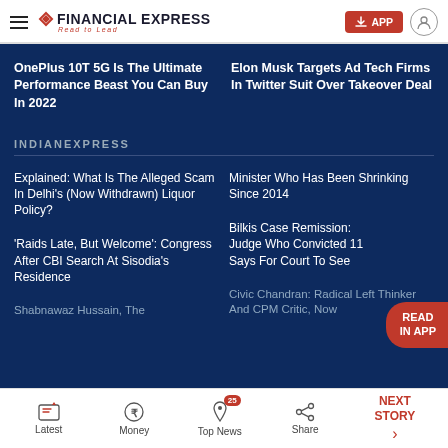FINANCIAL EXPRESS — Read to Lead
OnePlus 10T 5G Is The Ultimate Performance Beast You Can Buy In 2022
Elon Musk Targets Ad Tech Firms In Twitter Suit Over Takeover Deal
INDIANEXPRESS
Explained: What Is The Alleged Scam In Delhi's (Now Withdrawn) Liquor Policy?
Minister Who Has Been Shrinking Since 2014
'Raids Late, But Welcome': Congress After CBI Search At Sisodia's Residence
Bilkis Case Remission: Judge Who Convicted 11 Says For Court To See
Shabnawaz Hussain, The
Civic Chandran: Radical Left Thinker And CPM Critic, Now
Latest  Money  Top News 25  Share  NEXT STORY